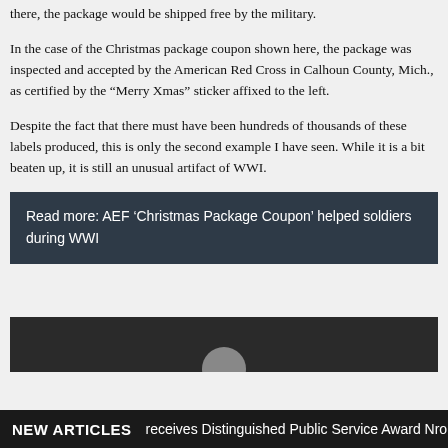there, the package would be shipped free by the military.
In the case of the Christmas package coupon shown here, the package was inspected and accepted by the American Red Cross in Calhoun County, Mich., as certified by the “Merry Xmas” sticker affixed to the left.
Despite the fact that there must have been hundreds of thousands of these labels produced, this is only the second example I have seen. While it is a bit beaten up, it is still an unusual artifact of WWI.
Read more: AEF ‘Christmas Package Coupon’ helped soldiers during WWI
[Figure (photo): Dark image showing a circular object, partially visible at the bottom of the content area]
NEW ARTICLES   receives Distinguished Public Service Award fro